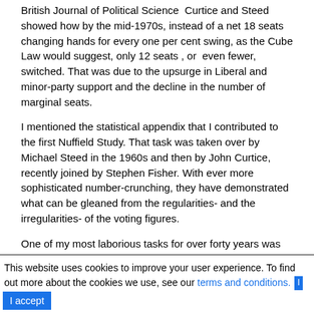British Journal of Political Science  Curtice and Steed showed how by the mid-1970s, instead of a net 18 seats  changing hands for every one per cent swing, as the Cube Law would suggest, only 12 seats , or  even fewer, switched. That was due to the upsurge in Liberal and minor-party support and the decline in the number of marginal seats.
I mentioned the statistical appendix that I contributed to the first Nuffield Study. That task was taken over by Michael Steed in the 1960s and then by John Curtice, recently joined by Stephen Fisher. With ever more sophisticated number-crunching, they have demonstrated what can be gleaned from the regularities- and the irregularities- of the voting figures.
One of my most laborious tasks for over forty years was the totting up of election expenses. Now that job is more efficiently done under the auspices of the Electoral Commission. But I must pay tribute to the work of my 1970 co-author, Michael Pinto - Duschinsky whose British Political Finance 1830-1980 chronicles the extraordinary
This website uses cookies to improve your user experience. To find out more about the cookies we use, see our terms and conditions. I accept